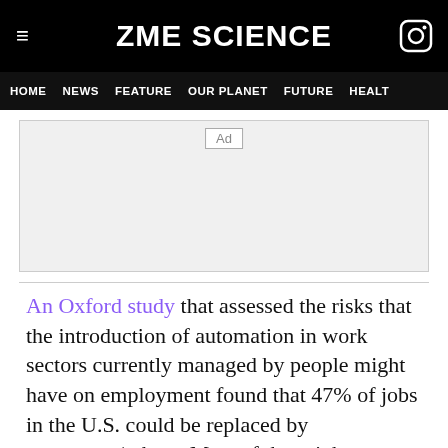ZME SCIENCE
HOME  NEWS  FEATURE  OUR PLANET  FUTURE  HEALT
[Figure (other): Advertisement placeholder block with 'Ad' label]
An Oxford study that assessed the risks that the introduction of automation in work sectors currently managed by people might have on employment found that 47% of jobs in the U.S. could be replaced by computers/robots. Most of these jobs are low-